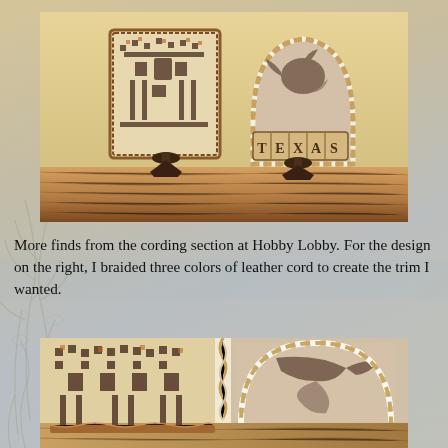[Figure (photo): Two handcrafted leather pieces on wooden easel stands on a wooden surface. Left piece shows a cross-stitch style building (the Alamo) with a brown leather border. Right piece is a rounded shape with a dove and 'TEXAS' lettering, trimmed with braided leather cord.]
More finds from the cording section at Hobby Lobby. For the design on the right, I braided three colors of leather cord to create the trim I wanted.
[Figure (photo): Close-up detail photo showing two leather craft pieces side by side. Left shows cross-stitch Alamo pattern with brown leather edge trim. Right shows the rounded piece with braided white and tan leather cord trim and a dove design.]